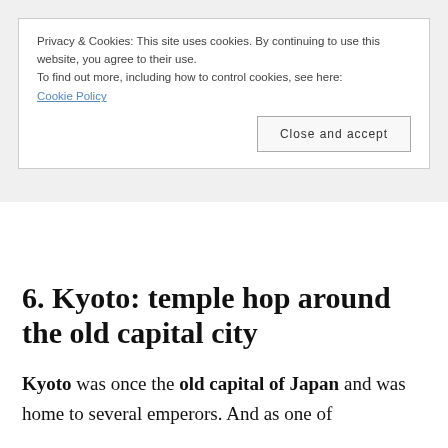Privacy & Cookies: This site uses cookies. By continuing to use this website, you agree to their use.
To find out more, including how to control cookies, see here:
Cookie Policy
Close and accept
6. Kyoto: temple hop around the old capital city
Kyoto was once the old capital of Japan and was home to several emperors. And as one of